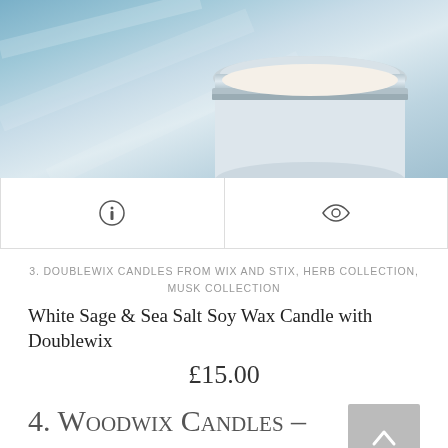[Figure (photo): Product photo showing a soy wax candle in a silver/chrome lidded jar against a blue/teal textured background]
[Figure (other): Two icon buttons: an info circle icon on the left and an eye/view icon on the right, separated by a vertical divider]
3. DOUBLEWIX CANDLES FROM WIX AND STIX, HERB COLLECTION, MUSK COLLECTION
White Sage & Sea Salt Soy Wax Candle with Doublewix
£15.00
4. Woodwix Candles – The Cracklers
Woodwix Candles – Introducing Tubed Wooden Wicks – soothing sound of crackling candles with a beautiful tubed